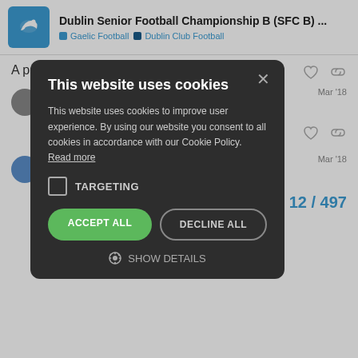Dublin Senior Football Championship B (SFC B) ...
Gaelic Football  Dublin Club Football
A potential winner be gone
Mar '18
is ... this year. Which m...
Mar '18
G... championship
12 / 497
[Figure (screenshot): Cookie consent modal dialog on dark background. Title: 'This website uses cookies'. Body text: 'This website uses cookies to improve user experience. By using our website you consent to all cookies in accordance with our Cookie Policy. Read more'. Checkbox labeled TARGETING (unchecked). Buttons: ACCEPT ALL (green), DECLINE ALL (outlined). SHOW DETAILS link with gear icon. Close (x) button top right.]